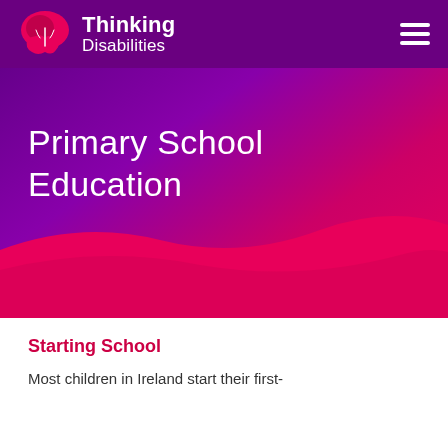[Figure (logo): Thinking Disabilities logo with pink brain icon and white text reading Thinking Disabilities]
Primary School Education
Starting School
Most children in Ireland start their first-